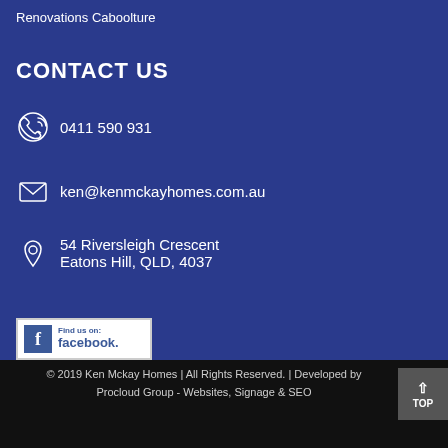Renovations Caboolture
CONTACT US
0411 590 931
ken@kenmckayhomes.com.au
54 Riversleigh Crescent
Eatons Hill, QLD, 4037
[Figure (logo): Find us on Facebook button with Facebook icon and text]
© 2019 Ken Mckay Homes | All Rights Reserved. | Developed by Procloud Group - Websites, Signage & SEO